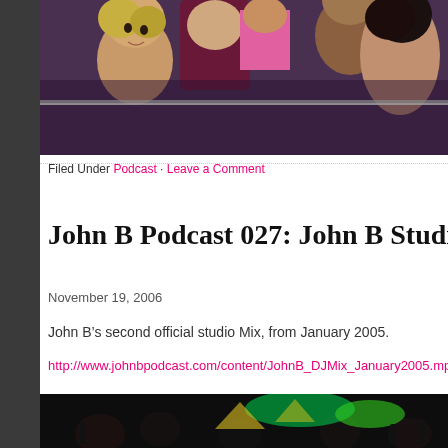[Figure (photo): Crowd of people at a nightclub, several young women visible, taken from behind a barrier or railing]
Filed Under Podcast · Leave a Comment
John B Podcast 027: John B Studio Mix Ja…
November 19, 2006
John B's second official studio Mix, from January 2005.
http://www.johnbpodcast.com/content/JohnB_DJMix_January2005.mp3
[Figure (photo): Dark nightclub scene with green stage lighting and crowd silhouettes]